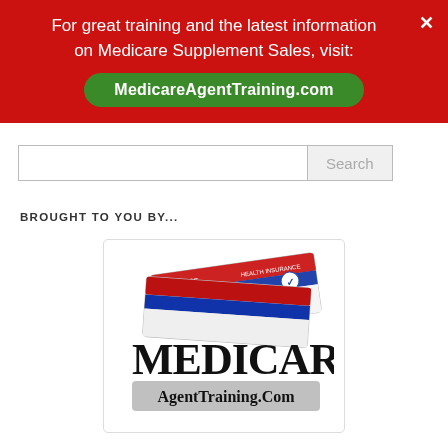For great training and the latest information on Medicare Supplement Sales, visit: MedicareAgentTraining.com
BROUGHT TO YOU BY...
[Figure (logo): Medicare AgentTraining.Com logo with Medicare health insurance card imagery]